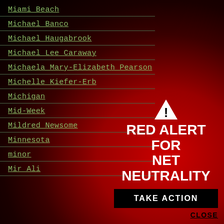Miami Beach
Michael Banco
Michael Haugabrook
Michael Lee Caraway
Michaela Mary-Elizabeth Pearson
Michelle Kiefer-Erb
Michigan
Mid-Week
Mildred Newsome
Minnesota
minor
Mir Ali
[Figure (infographic): Red Alert for Net Neutrality overlay with warning triangle icon, 'RED ALERT FOR NET NEUTRALITY' text in white bold, a 'TAKE ACTION' black button, and a 'CLOSE' link.]